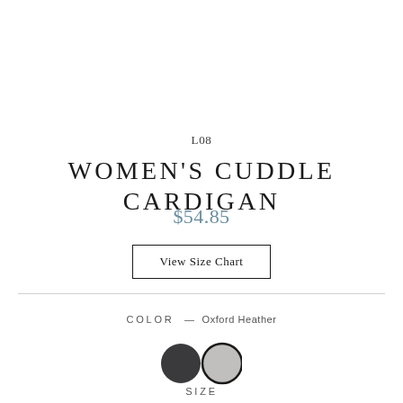L08
WOMEN'S CUDDLE CARDIGAN
$54.85
View Size Chart
COLOR — Oxford Heather
[Figure (illustration): Two color swatches: a dark charcoal/black circle swatch and a light grey circle swatch with a dark border indicating selected state]
SIZE